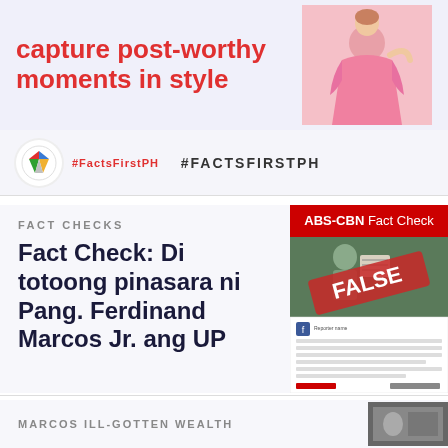capture post-worthy moments in style
[Figure (photo): Woman in pink dress]
[Figure (logo): #FactsFirstPH logo with colored diamond icon]
#FACTSFIRSTPH
FACT CHECKS
Fact Check: Di totoong pinasara ni Pang. Ferdinand Marcos Jr. ang UP
[Figure (screenshot): ABS-CBN Fact Check card with FALSE stamp overlay on image of person, with Tagalog text below]
MARCOS ILL-GOTTEN WEALTH